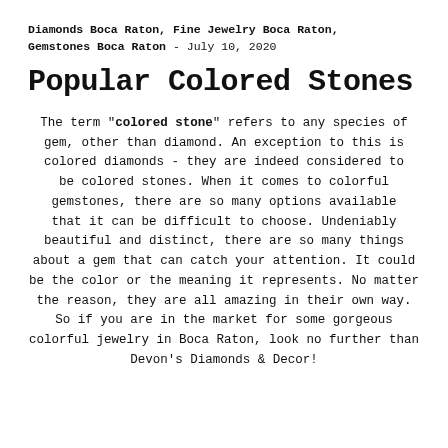Diamonds Boca Raton, Fine Jewelry Boca Raton, Gemstones Boca Raton - July 10, 2020
Popular Colored Stones
The term "colored stone" refers to any species of gem, other than diamond. An exception to this is colored diamonds - they are indeed considered to be colored stones. When it comes to colorful gemstones, there are so many options available that it can be difficult to choose. Undeniably beautiful and distinct, there are so many things about a gem that can catch your attention. It could be the color or the meaning it represents. No matter the reason, they are all amazing in their own way. So if you are in the market for some gorgeous colorful jewelry in Boca Raton, look no further than Devon's Diamonds & Decor!